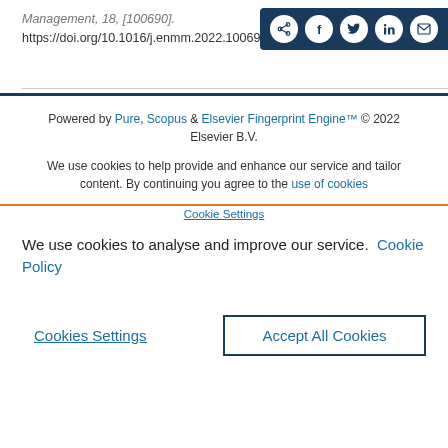Management, 18, [100690]. https://doi.org/10.1016/j.enmm.2022.100690
[Figure (other): Social share button bar with icons for share, Facebook, Twitter, LinkedIn, and email on dark navy background]
Powered by Pure, Scopus & Elsevier Fingerprint Engine™ © 2022 Elsevier B.V.
We use cookies to help provide and enhance our service and tailor content. By continuing you agree to the use of cookies
Cookie Settings
We use cookies to analyse and improve our service. Cookie Policy
Cookies Settings
Accept All Cookies